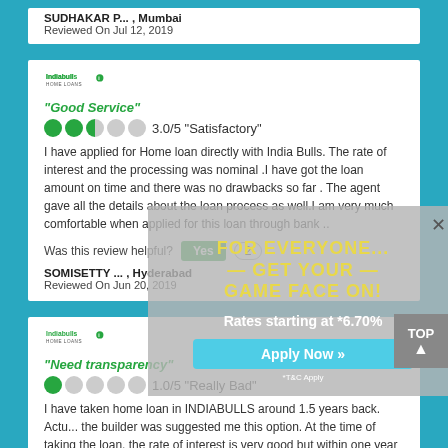SUDHAKAR P... , Mumbai
Reviewed On Jul 12, 2019
[Figure (logo): Indiabulls Home Loans logo]
"Good Service"
3.0/5 "Satisfactory"
I have applied for Home loan directly with India Bulls. The rate of interest and the processing was nominal .I have got the loan amount on time and there was no drawbacks so far . The agent gave all the details about the loan process as well.I am very much comfortable when applied for this loan through bank ..
Was this review helpful?  Yes  2
SOMISETTY ... , Hyderabad
Reviewed On Jun 20, 2019
[Figure (logo): Indiabulls Home Loans logo]
"Need transparency"
1.0/5 "Really Bad"
I have taken home loan in INDIABULLS around 1.5 years back. Actually the builder was suggested me this option. At the time of taking the loan, the rate of interest is very good but within one year and they have increased very huge which am not happy. The customer service is good. They need to explain everything clear during the loan process.
Was this review helpful?  Yes  7
LILADHAR ... , New Delhi